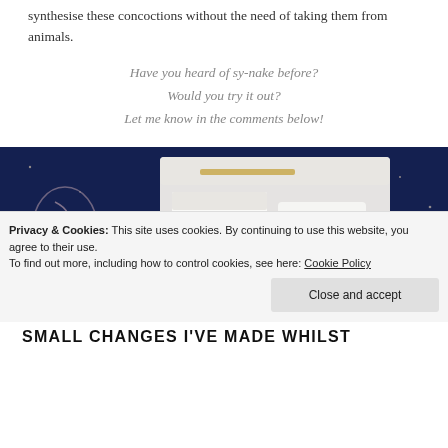technology has come along enough that we can now synthesise these concoctions without the need of taking them from animals.
Have you heard of sy-nake before? Would you try it out? Let me know in the comments below!
[Figure (photo): Photo of an open white gift box containing beauty/skincare products (OPATRA branded item, black product, gold accessories) on a dark blue starry fabric background.]
Privacy & Cookies: This site uses cookies. By continuing to use this website, you agree to their use. To find out more, including how to control cookies, see here: Cookie Policy
Close and accept
SMALL CHANGES I'VE MADE WHILST